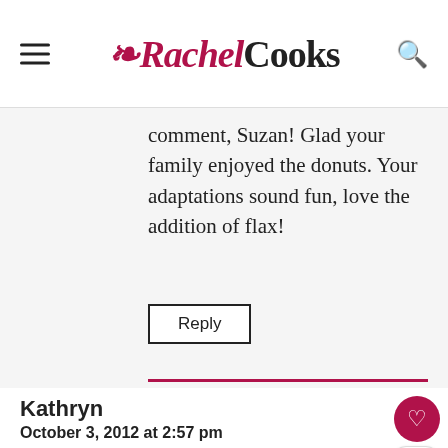Rachel Cooks
comment, Suzan! Glad your family enjoyed the donuts. Your adaptations sound fun, love the addition of flax!
Reply
Kathryn
October 3, 2012 at 2:57 pm
I bought a mini donut pan when I was in San Francisco and I can't wait to start using it...